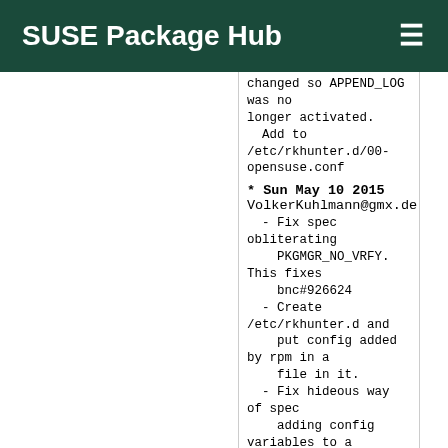SUSE Package Hub
changed so APPEND_LOG was no longer activated.
  Add to /etc/rkhunter.d/00-opensuse.conf
* Sun May 10 2015 VolkerKuhlmann@gmx.de
  - Fix spec obliterating PKGMGR_NO_VRFY. This fixes bnc#926624
  - Create /etc/rkhunter.d and put config added by rpm in a file in it.
  - Fix hideous way of spec adding config variables to a file.
* Sun Apr 05 2015 arun@gmx.de
  - specfile:
    * added ALLOWHIDENFILE /dev/.blkid.tab, /dev/.blkid.tab.old, and /etc/.updated
* Fri Oct 24 2014 Greg.Freemyer@gmail.com
  - update to v1.4.2
    * See CHANGELOG at http://rkhunter.cvs.sourceforge.net/viewvc/rkhunter/rkhunter/files/CHANGELOG